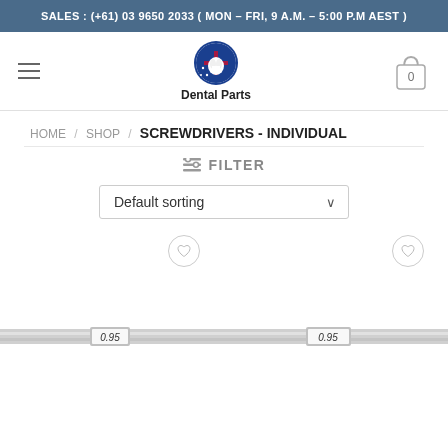SALES : (+61) 03 9650 2033 ( MON – FRI, 9 A.M. – 5:00 P.M AEST )
[Figure (logo): Dental Parts logo — circular icon with Australian flag motif and tooth, with text 'Dental Parts' below]
HOME / SHOP / SCREWDRIVERS - INDIVIDUAL
≡ FILTER
Default sorting
[Figure (photo): Two dental screwdrivers labeled '0.95' shown side by side at the bottom of the page, each with a wishlist heart icon above them]
0.95
0.95